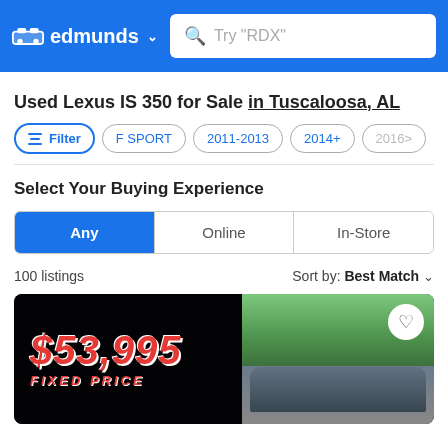edmunds — search bar with placeholder: Try "RDX"
Used Lexus IS 350 for Sale in Tuscaloosa, AL
Filter | F SPORT | 2011-2013 | 2014+ | 2016>
Select Your Buying Experience
Any | Online | In-Store
100 listings   Sort by: Best Match
[Figure (photo): Car listing image showing $53,995 FIXED PRICE in red text on black overlay, with a Lexus vehicle and trees in the background on the right side. Heart/favorite button in top-right corner.]